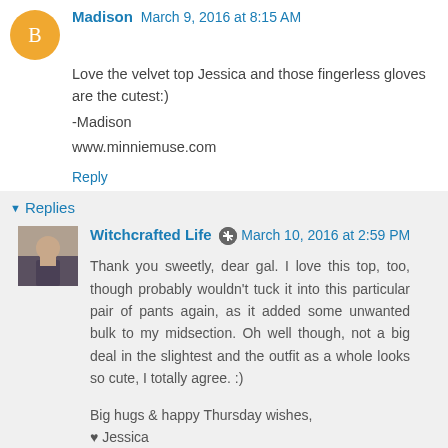Madison  March 9, 2016 at 8:15 AM
Love the velvet top Jessica and those fingerless gloves are the cutest:)
-Madison
www.minniemuse.com
Reply
Replies
Witchcrafted Life  March 10, 2016 at 2:59 PM
Thank you sweetly, dear gal. I love this top, too, though probably wouldn't tuck it into this particular pair of pants again, as it added some unwanted bulk to my midsection. Oh well though, not a big deal in the slightest and the outfit as a whole looks so cute, I totally agree. :)

Big hugs & happy Thursday wishes,
♥ Jessica